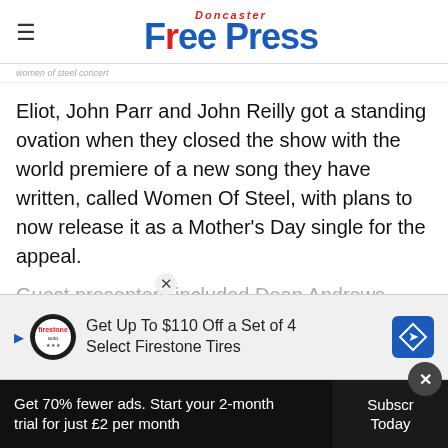Doncaster Free Press
women of steel concert
Eliot, John Parr and John Reilly got a standing ovation when they closed the show with the world premiere of a new song they have written, called Women Of Steel, with plans to now release it as a Mother’s Day single for the appeal.
Guest presenters included Dean Andrews, from Life O... hn Eliot... including BBC...
[Figure (screenshot): Advertisement banner: Get Up To $110 Off a Set of 4 Select Firestone Tires, with Firestone auto logo and blue diamond road sign icon]
Get 70% fewer ads. Start your 2-month trial for just £2 per month | Subscribe Today